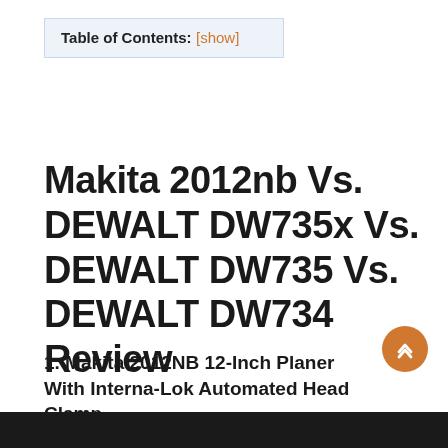Table of Contents: [show]
Makita 2012nb Vs. DEWALT DW735x Vs. DEWALT DW735 Vs. DEWALT DW734 Review
1. Makita 2012NB 12-Inch Planer With Interna-Lok Automated Head Clamp
[Figure (photo): Gray placeholder image area for product photo]